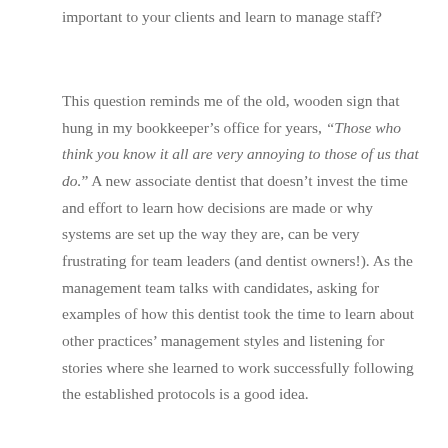important to your clients and learn to manage staff?
This question reminds me of the old, wooden sign that hung in my bookkeeper’s office for years, “Those who think you know it all are very annoying to those of us that do.” A new associate dentist that doesn’t invest the time and effort to learn how decisions are made or why systems are set up the way they are, can be very frustrating for team leaders (and dentist owners!). As the management team talks with candidates, asking for examples of how this dentist took the time to learn about other practices’ management styles and listening for stories where she learned to work successfully following the established protocols is a good idea.